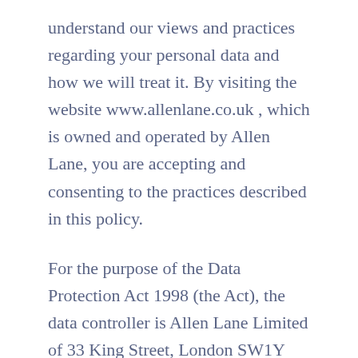understand our views and practices regarding your personal data and how we will treat it. By visiting the website www.allenlane.co.uk , which is owned and operated by Allen Lane, you are accepting and consenting to the practices described in this policy.
For the purpose of the Data Protection Act 1998 (the Act), the data controller is Allen Lane Limited of 33 King Street, London SW1Y 6RJ. Our ICO registration number is Z9087338. The Act provides for the regulation of the processing of information relating to individuals who